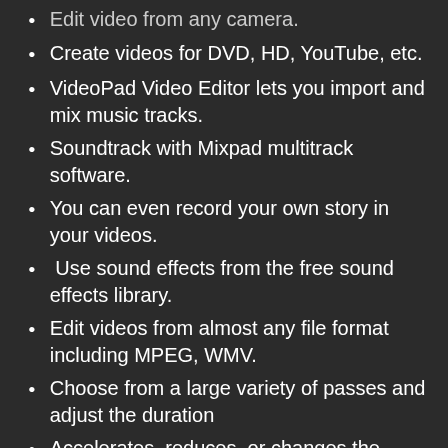Edit video from any camera.
Create videos for DVD, HD, YouTube, etc.
VideoPad Video Editor lets you import and mix music tracks.
Soundtrack with Mixpad multitrack software.
You can even record your own story in your videos.
Use sound effects from the free sound effects library.
Edit videos from almost any file format including MPEG, WMV.
Choose from a large variety of passes and adjust the duration
Accelerates, reduces, or changes the movement of pieces.
Choose from a wide variety of video transitions
3D video editing and 2D to 3D stereoscopic conversion
Adjust the duration of the transitions used
Cover text for captions and film credits.